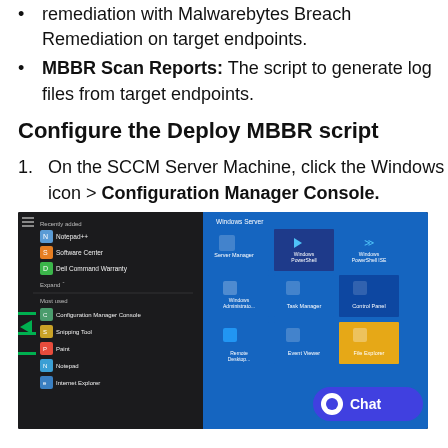Execute MBBR: The script to run scans and remediation with Malwarebytes Breach Remediation on target endpoints.
MBBR Scan Reports: The script to generate log files from target endpoints.
Configure the Deploy MBBR script
On the SCCM Server Machine, click the Windows icon > Configuration Manager Console.
[Figure (screenshot): Windows Start menu showing Recently added and Most used apps on the left, and Windows Server tiles on the right including Server Manager, Windows PowerShell, Windows PowerShell ISE, Windows Administrative Tools, Task Manager, Control Panel, Remote Desktop, Event Viewer, File Explorer. A blue Chat bubble is visible in the bottom right corner.]